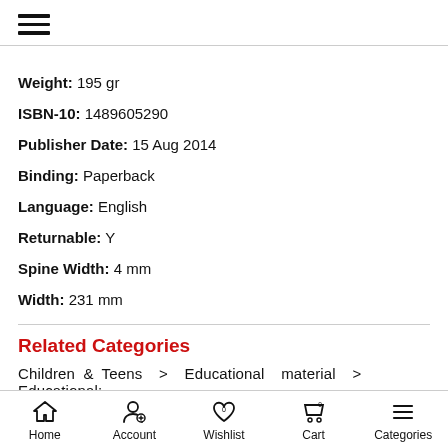≡ (hamburger menu)
Weight: 195 gr
ISBN-10: 1489605290
Publisher Date: 15 Aug 2014
Binding: Paperback
Language: English
Returnable: Y
Spine Width: 4 mm
Width: 231 mm
Related Categories
Children & Teens > Educational material > Educational:
Home | Account | Wishlist 0 | Cart 0 | Categories